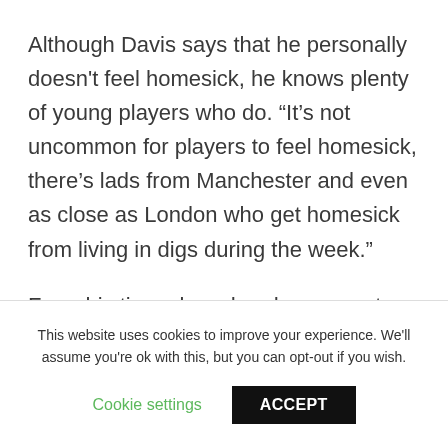Although Davis says that he personally doesn't feel homesick, he knows plenty of young players who do. “It’s not uncommon for players to feel homesick, there’s lads from Manchester and even as close as London who get homesick from living in digs during the week.”
From his time abroad and as a mentor to younger players in Dublin, O’Brien sees
This website uses cookies to improve your experience. We'll assume you're ok with this, but you can opt-out if you wish.
Cookie settings
ACCEPT